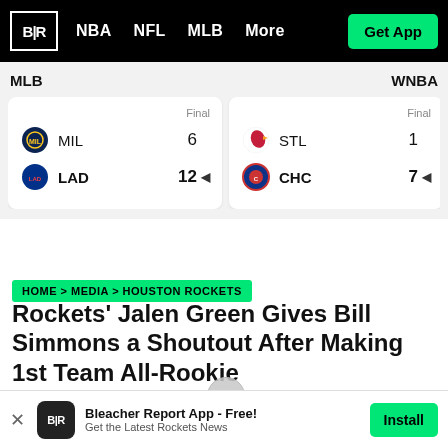B|R  NBA  NFL  MLB  More  Get App
MLB
WNBA
| Team | Score | Status |
| --- | --- | --- |
| MIL | 6 | Final |
| LAD | 12 | Final - winner |
| Team | Score | Status |
| --- | --- | --- |
| STL | 1 | Final |
| CHC | 7 | Final - winner |
| Team | Score |
| --- | --- |
| CON | 1 |  |
| DAL | 1 |  |
HOME > MEDIA > HOUSTON ROCKETS
Rockets' Jalen Green Gives Bill Simmons a Shoutout After Making 1st Team All-Rookie
Bleacher Report App - Free! Get the Latest Rockets News  Install